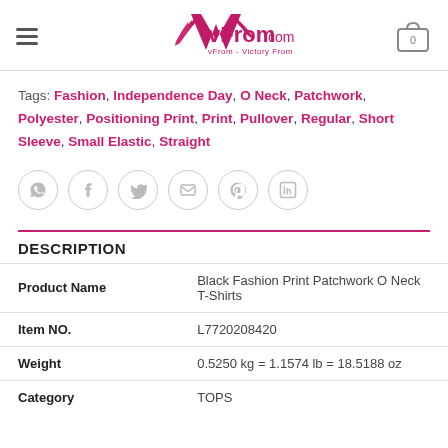vFrom.com — vFrom - Victory From Your Dress
Tags: Fashion, Independence Day, O Neck, Patchwork, Polyester, Positioning Print, Print, Pullover, Regular, Short Sleeve, Small Elastic, Straight
[Figure (other): Social share icons: WhatsApp, Facebook, Twitter, Email, Pinterest, LinkedIn]
DESCRIPTION
|  |  |
| --- | --- |
| Product Name | Black Fashion Print Patchwork O Neck T-Shirts |
| Item NO. | L7720208420 |
| Weight | 0.5250 kg = 1.1574 lb = 18.5188 oz |
| Category | TOPS |